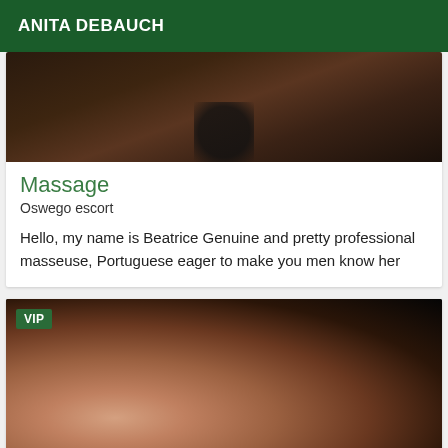ANITA DEBAUCH
[Figure (photo): Dark, dimly lit background photo showing a silhouette, forming the top portion of a listing card]
Massage
Oswego escort
Hello, my name is Beatrice Genuine and pretty professional masseuse, Portuguese eager to make you men know her
[Figure (photo): Photo showing a woman wearing black lingerie lying down, with a VIP badge in the top left corner]